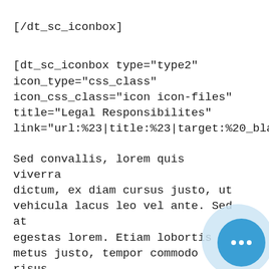cursus sit amet.
[/dt_sc_iconbox]
[dt_sc_iconbox type="type2" icon_type="css_class" icon_css_class="icon icon-files" title="Legal Responsibilites" link="url:%23|title:%23|target:%20_blank"]
Sed convallis, lorem quis viverra dictum, ex diam cursus justo, ut vehicula lacus leo vel ante. Sed at egestas lorem. Etiam lobortis metus justo, tempor commodo risus cursus sit amet.
[/dt_sc_iconbox][dt_sc_iconbox type="type3"